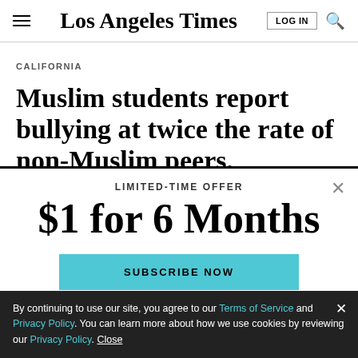Los Angeles Times
CALIFORNIA
Muslim students report bullying at twice the rate of non-Muslim peers,
LIMITED-TIME OFFER
$1 for 6 Months
SUBSCRIBE NOW
By continuing to use our site, you agree to our Terms of Service and Privacy Policy. You can learn more about how we use cookies by reviewing our Privacy Policy. Close